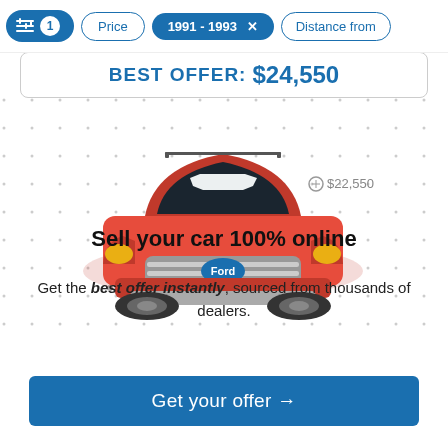Filter 1 | Price | 1991 - 1993 × | Distance from
BEST OFFER: $24,550
[Figure (photo): Red Ford Escape SUV viewed from the front, parked against a white/dotted background with price labels $22,550 and $18,950 visible]
Sell your car 100% online
Get the best offer instantly, sourced from thousands of dealers.
Get your offer →